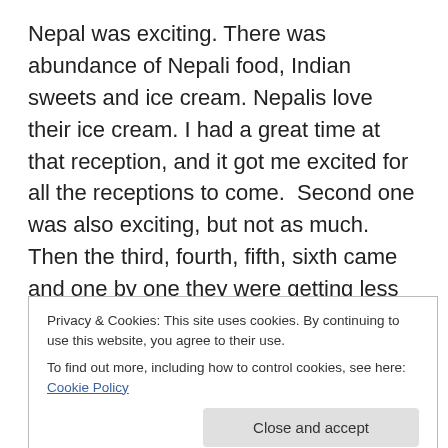Nepal was exciting. There was abundance of Nepali food, Indian sweets and ice cream. Nepalis love their ice cream. I had a great time at that reception, and it got me excited for all the receptions to come.  Second one was also exciting, but not as much. Then the third, fourth, fifth, sixth came and one by one they were getting less exciting. I realized one thing – they were all the same! Guests were the same, locations were the same, decorations were the same, protocol was the same, music was the same, food was the same… Heck, even uncles and aunties all looked the same.
Privacy & Cookies: This site uses cookies. By continuing to use this website, you agree to their use.
To find out more, including how to control cookies, see here: Cookie Policy
guests. They also endure an infinite number of aunty